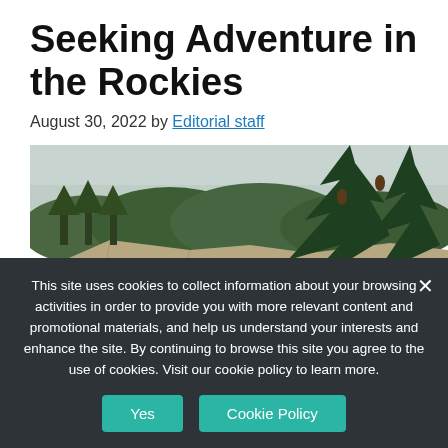Seeking Adventure in the Rockies
August 30, 2022 by Editorial staff
[Figure (photo): Hikers on a rocky canyon trail with dense pine forest and a large pine tree in the foreground, under a hazy sky.]
This site uses cookies to collect information about your browsing activities in order to provide you with more relevant content and promotional materials, and help us understand your interests and enhance the site. By continuing to browse this site you agree to the use of cookies. Visit our cookie policy to learn more.